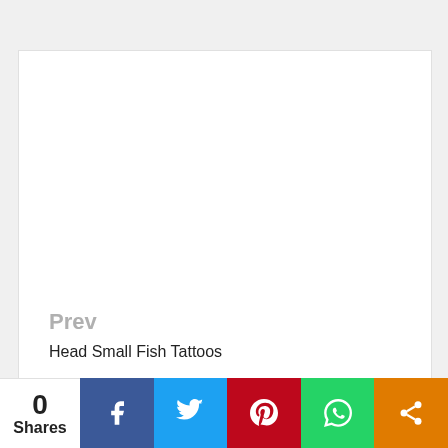[Figure (photo): White blank image placeholder area at top of card]
Prev
Head Small Fish Tattoos
Next
Astonishing Small Fish Tattoos
0 Shares